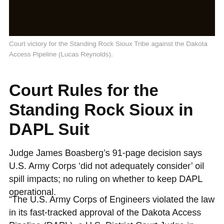[Figure (photo): Dark photograph at top of page, showing a nighttime or low-light scene related to the Standing Rock Sioux Tribe and Dakota Access Pipeline protest.]
Court victory for the Standing Rock Sioux Tribe against the Dakota Access Pipeline (Lucas Reynolds).
Court Rules for the Standing Rock Sioux in DAPL Suit
Judge James Boasberg’s 91-page decision says U.S. Army Corps ‘did not adequately consider’ oil spill impacts; no ruling on whether to keep DAPL operational.
“The U.S. Army Corps of Engineers violated the law in its fast-tracked approval of the Dakota Access Pipeline (DAPL), a U.S. District Court Judge in Washington D.C.